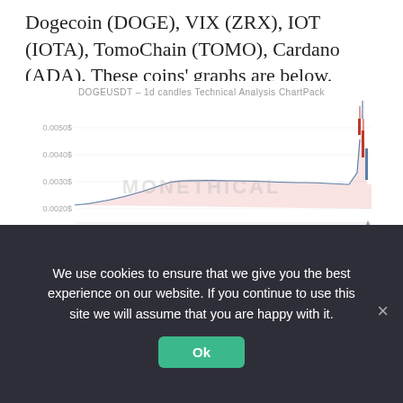Dogecoin (DOGE), VIX (ZRX), IOT (IOTA), TomoChain (TOMO), Cardano (ADA). These coins' graphs are below.
[Figure (continuous-plot): DOGEUSDT 1d candles Technical Analysis ChartPack showing price chart with candlesticks, Vortex indicator, MACD, and ADX sub-panels. Price ranges from about 0.0020$ to 0.0050$. MONETHICAL watermark visible. Price spikes sharply at the right end.]
We use cookies to ensure that we give you the best experience on our website. If you continue to use this site we will assume that you are happy with it.